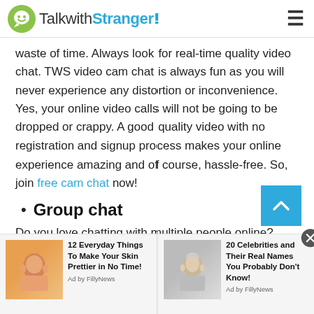TalkwithStranger!
waste of time. Always look for real-time quality video chat. TWS video cam chat is always fun as you will never experience any distortion or inconvenience. Yes, your online video calls will not be going to be dropped or crappy. A good quality video with no registration and signup process makes your online experience amazing and of course, hassle-free. So, join free cam chat now!
Group chat
Do you love chatting with multiple people online?
[Figure (screenshot): Advertisement bar at bottom: two ads. Left: '12 Everyday Things To Make Your Skin Prettier in No Time!' by FillyNews. Right: '20 Celebrities and Their Real Names You Probably Don't Know!' by FillyNews. Close button (X) visible.]